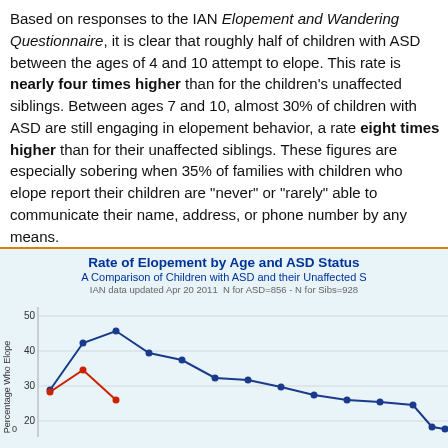Based on responses to the IAN Elopement and Wandering Questionnaire, it is clear that roughly half of children with ASD between the ages of 4 and 10 attempt to elope. This rate is nearly four times higher than for the children's unaffected siblings. Between ages 7 and 10, almost 30% of children with ASD are still engaging in elopement behavior, a rate eight times higher than for their unaffected siblings. These figures are especially sobering when 35% of families with children who elope report their children are "never" or "rarely" able to communicate their name, address, or phone number by any means.
[Figure (line-chart): Rate of Elopement by Age and ASD Status]